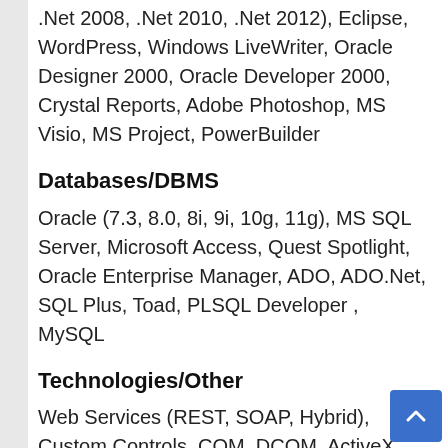.Net 2008, .Net 2010, .Net 2012), Eclipse, WordPress, Windows LiveWriter, Oracle Designer 2000, Oracle Developer 2000, Crystal Reports, Adobe Photoshop, MS Visio, MS Project, PowerBuilder
Databases/DBMS
Oracle (7.3, 8.0, 8i, 9i, 10g, 11g), MS SQL Server, Microsoft Access, Quest Spotlight, Oracle Enterprise Manager, ADO, ADO.Net, SQL Plus, Toad, PLSQL Developer , MySQL
Technologies/Other
Web Services (REST, SOAP, Hybrid), Custom Controls, COM, DCOM, ActiveX Dll's, MTS, IIS, Apache, MKS Toolkit,